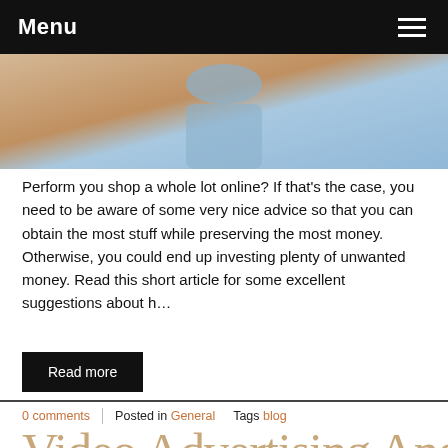Menu
[Figure (photo): A person sitting at a wooden desk in a blue shirt, photographed from above, with warm wood tones visible.]
Perform you shop a whole lot online? If that's the case, you need to be aware of some very nice advice so that you can obtain the most stuff while preserving the most money. Otherwise, you could end up investing plenty of unwanted money. Read this short article for some excellent suggestions about h…
Read more
0 comments  |  Posted in General  Tags blog
Video Advertising And